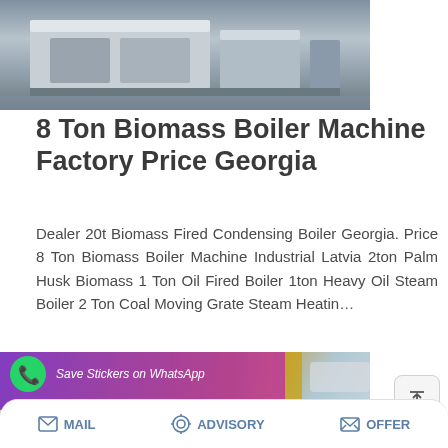[Figure (photo): Industrial boiler machine in a factory setting, showing gray/blue/white machinery on a concrete floor]
8 Ton Biomass Boiler Machine Factory Price Georgia
Dealer 20t Biomass Fired Condensing Boiler Georgia. Price 8 Ton Biomass Boiler Machine Industrial Latvia 2ton Palm Husk Biomass 1 Ton Oil Fired Boiler 1ton Heavy Oil Steam Boiler 2 Ton Coal Moving Grate Steam Heatin…
[Figure (photo): Industrial yellow pipes and equipment in a factory, with a WhatsApp sticker saver overlay showing purple/pink gradient and WhatsApp icons]
MAIL   ADVISORY   OFFER